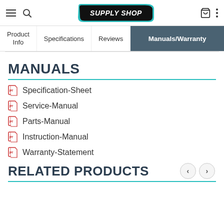[Figure (logo): Supply Shop logo with teal border on black background]
Product Info | Specifications | Reviews | Manuals/Warranty
MANUALS
Specification-Sheet
Service-Manual
Parts-Manual
Instruction-Manual
Warranty-Statement
RELATED PRODUCTS